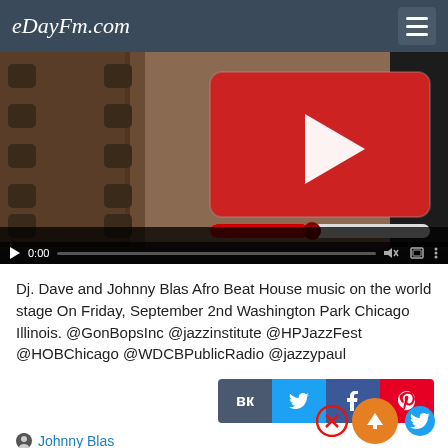eDayFm.com
[Figure (screenshot): Video player thumbnail showing a film strip with a red play button rectangle in the center and video playback controls at the bottom (play button, 0:00 timestamp, progress bar, volume and settings icons).]
Dj. Dave and Johnny Blas Afro Beat House music on the world stage On Friday, September 2nd Washington Park Chicago Illinois. @GonBopsInc @jazzinstitute @HPJazzFest @HOBChicago @WDCBPublicRadio @jazzypaul
Johnny Blas
September 1, 2022 at 4:21 PM